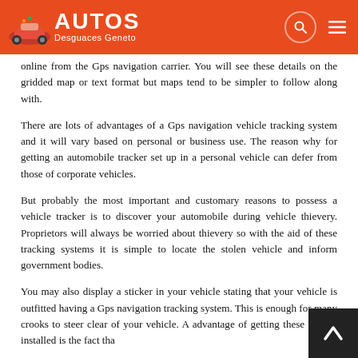AUTOS Desguaces Geneto
online from the Gps navigation carrier. You will see these details on the gridded map or text format but maps tend to be simpler to follow along with.
There are lots of advantages of a Gps navigation vehicle tracking system and it will vary based on personal or business use. The reason why for getting an automobile tracker set up in a personal vehicle can defer from those of corporate vehicles.
But probably the most important and customary reasons to possess a vehicle tracker is to discover your automobile during vehicle thievery. Proprietors will always be worried about thievery so with the aid of these tracking systems it is simple to locate the stolen vehicle and inform government bodies.
You may also display a sticker in your vehicle stating that your vehicle is outfitted having a Gps navigation tracking system. This is enough for many crooks to steer clear of your vehicle. A advantage of getting these system installed is the fact tha